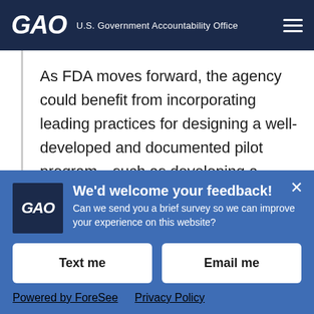GAO U.S. Government Accountability Office
As FDA moves forward, the agency could benefit from incorporating leading practices for designing a well-developed and documented pilot program—such as developing a methodology that details the information necessary to evaluate the pilot. This would help ensure the pilots provide FDA with the
We'd welcome your feedback! Can we send you a brief survey so we can improve your experience on this website?
Text me
Email me
Powered by ForeSee   Privacy Policy